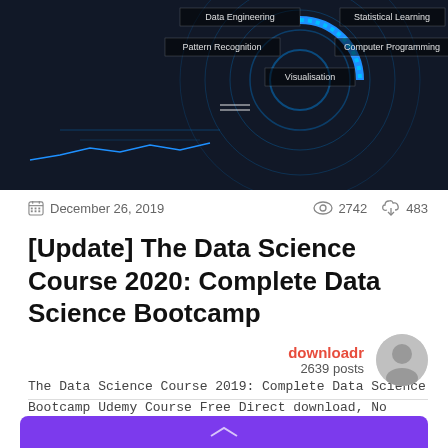[Figure (screenshot): Dark tech/data science themed banner image with circular data visualization, blue accents, and text labels: Data Engineering, Pattern Recognition, Visualisation, Statistical Learning, Computer Programming]
December 26, 2019   2742   483
[Update] The Data Science Course 2020: Complete Data Science Bootcamp
The Data Science Course 2019: Complete Data Science Bootcamp Udemy Course Free Direct download, No survey. Full...
downloadr
2639 posts